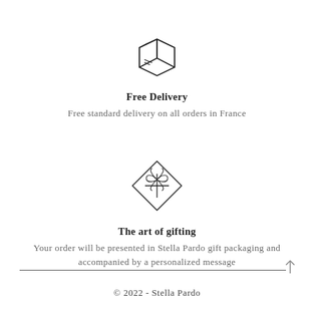[Figure (illustration): Line-art icon of a cardboard delivery box with tape lines on top, viewed at an isometric angle]
Free Delivery
Free standard delivery on all orders in France
[Figure (illustration): Line-art icon of a gift box with a ribbon and bow on top, set inside a diamond/rhombus border]
The art of gifting
Your order will be presented in Stella Pardo gift packaging and accompanied by a personalized message
© 2022 - Stella Pardo